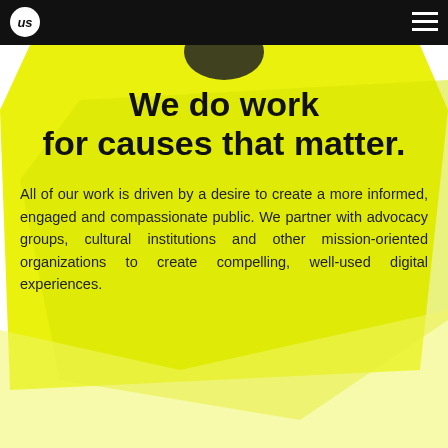us (logo) | navigation menu
We do work for causes that matter.
All of our work is driven by a desire to create a more informed, engaged and compassionate public. We partner with advocacy groups, cultural institutions and other mission-oriented organizations to create compelling, well-used digital experiences.